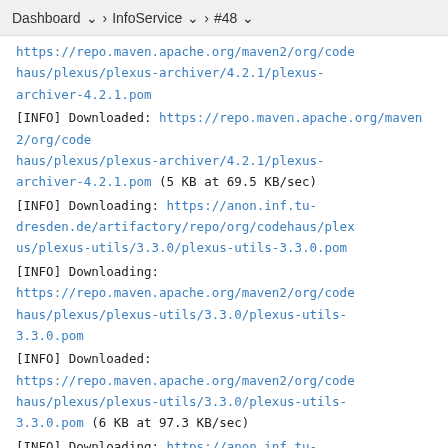Dashboard > InfoService > #48
https://repo.maven.apache.org/maven2/org/codehaus/plexus/plexus-archiver/4.2.1/plexus-archiver-4.2.1.pom
[INFO] Downloaded: https://repo.maven.apache.org/maven2/org/codehaus/plexus/plexus-archiver/4.2.1/plexus-archiver-4.2.1.pom (5 KB at 69.5 KB/sec)
[INFO] Downloading: https://anon.inf.tu-dresden.de/artifactory/repo/org/codehaus/plexus/plexus-utils/3.3.0/plexus-utils-3.3.0.pom
[INFO] Downloading: https://repo.maven.apache.org/maven2/org/codehaus/plexus/plexus-utils/3.3.0/plexus-utils-3.3.0.pom
[INFO] Downloaded: https://repo.maven.apache.org/maven2/org/codehaus/plexus/plexus-utils/3.3.0/plexus-utils-3.3.0.pom (6 KB at 97.3 KB/sec)
[INFO] Downloading: https://anon.inf.tu-